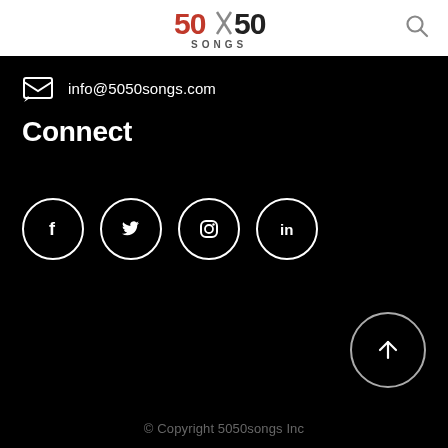[Figure (logo): 5050 SONGS logo in red and dark text with search icon]
info@5050songs.com
Connect
[Figure (illustration): Social media icons in circles: Facebook, Twitter, Instagram, LinkedIn]
[Figure (illustration): Back to top arrow button circle]
© Copyright 5050songs Inc